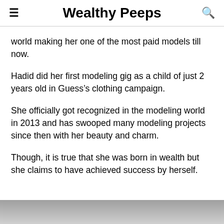Wealthy Peeps
world making her one of the most paid models till now.
Hadid did her first modeling gig as a child of just 2 years old in Guess’s clothing campaign.
She officially got recognized in the modeling world in 2013 and has swooped many modeling projects since then with her beauty and charm.
Though, it is true that she was born in wealth but she claims to have achieved success by herself.
[Figure (photo): Partial view of a photo at the bottom of the page, gray-toned image strip]